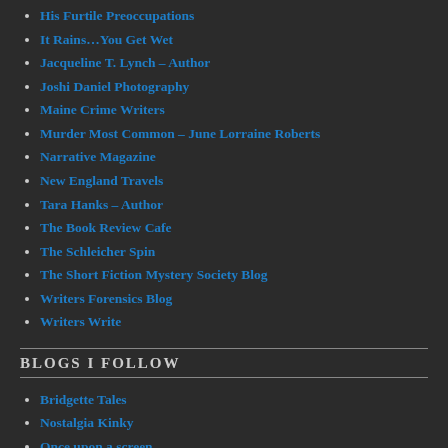His Furtile Preoccupations
It Rains…You Get Wet
Jacqueline T. Lynch – Author
Joshi Daniel Photography
Maine Crime Writers
Murder Most Common – June Lorraine Roberts
Narrative Magazine
New England Travels
Tara Hanks – Author
The Book Review Cafe
The Schleicher Spin
The Short Fiction Mystery Society Blog
Writers Forensics Blog
Writers Write
BLOGS I FOLLOW
Bridgette Tales
Nostalgia Kinky
Once upon a screen…
The Last Drive In
Thrills, Spills, and just a dash of Romance
PROLIFIC WRITERS ACADEMY
Book Noir Mysteries